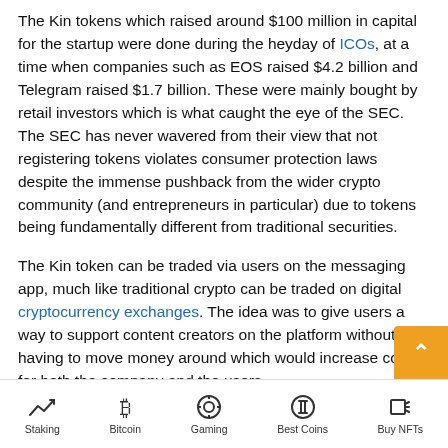The Kin tokens which raised around $100 million in capital for the startup were done during the heyday of ICOs, at a time when companies such as EOS raised $4.2 billion and Telegram raised $1.7 billion. These were mainly bought by retail investors which is what caught the eye of the SEC. The SEC has never wavered from their view that not registering tokens violates consumer protection laws despite the immense pushback from the wider crypto community (and entrepreneurs in particular) due to tokens being fundamentally different from traditional securities.
The Kin token can be traded via users on the messaging app, much like traditional crypto can be traded on digital cryptocurrency exchanges. The idea was to give users a way to support content creators on the platform without having to move money around which would increase costs for both the company and the users.
Staking | Bitcoin | Gaming | Best Coins | Buy NFTs